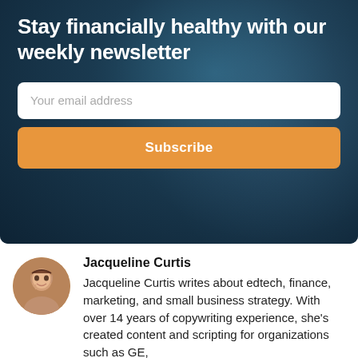Stay financially healthy with our weekly newsletter
Your email address
Subscribe
Jacqueline Curtis
Jacqueline Curtis writes about edtech, finance, marketing, and small business strategy. With over 14 years of copywriting experience, she's created content and scripting for organizations such as GE,